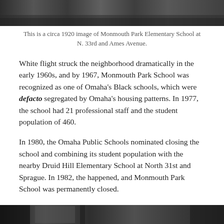[Figure (photo): A circa 1920 black and white photograph of Monmouth Park Elementary School, showing a large crowd of people in front of the school building.]
This is a circa 1920 image of Monmouth Park Elementary School at N. 33rd and Ames Avenue.
White flight struck the neighborhood dramatically in the early 1960s, and by 1967, Monmouth Park School was recognized as one of Omaha's Black schools, which were defacto segregated by Omaha's housing patterns. In 1977, the school had 21 professional staff and the student population of 460.
In 1980, the Omaha Public Schools nominated closing the school and combining its student population with the nearby Druid Hill Elementary School at North 31st and Sprague. In 1982, the happened, and Monmouth Park School was permanently closed.
[Figure (photo): Bottom portion of a black and white photograph, partially visible at the bottom of the page.]